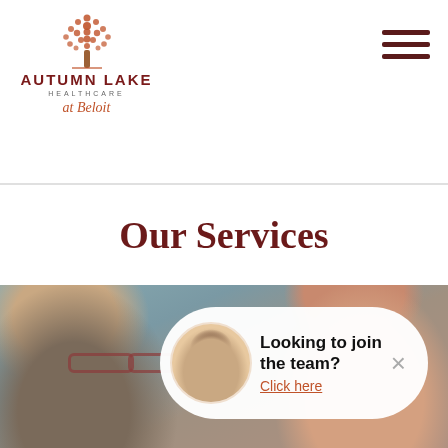[Figure (logo): Autumn Lake Healthcare at Beloit logo with decorative tree icon, brand name in dark red, and italic script 'at Beloit']
[Figure (other): Hamburger menu icon (three horizontal dark red bars) in top right corner]
Our Services
[Figure (photo): Two people smiling — an older woman with glasses and gray hair in the foreground, and a younger person with red/auburn hair in background, overlaid with a chat popup widget]
Looking to join the team?
Click here